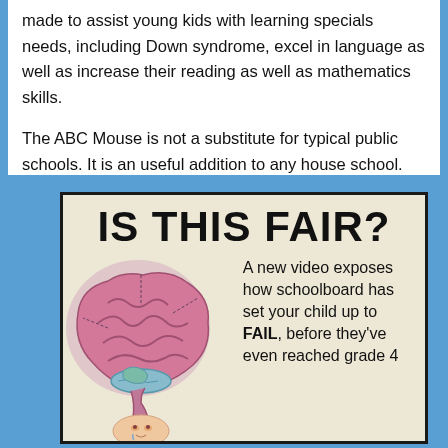made to assist young kids with learning specials needs, including Down syndrome, excel in language as well as increase their reading as well as mathematics skills.
The ABC Mouse is not a substitute for typical public schools. It is an useful addition to any house school.
[Figure (infographic): Infographic with cream/tan background and dark border. Title reads 'IS THIS FAIR?' in large bold uppercase letters. Left side shows illustrated cross-section of a child's brain in pink/purple tones with a child's face below. Right side text reads: 'A new video exposes how schoolboard has set your child up to FAIL, before they've even reached grade 4']